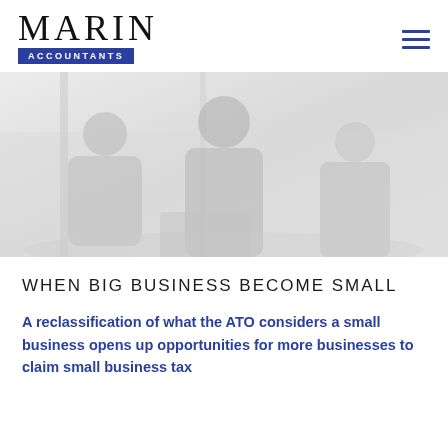MARIN ACCOUNTANTS
[Figure (photo): Faded/light greyscale photo of business people in a meeting or office setting]
WHEN BIG BUSINESS BECOME SMALL
A reclassification of what the ATO considers a small business opens up opportunities for more businesses to claim small business tax